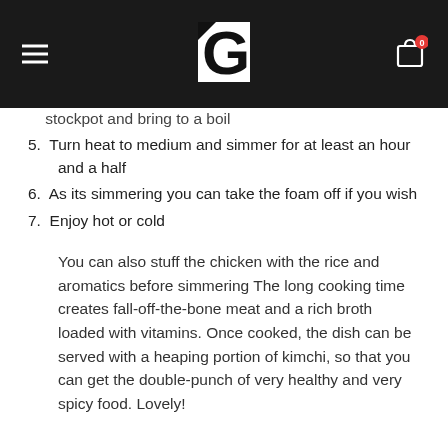Navigation header with logo and cart
stockpot and bring to a boil
5. Turn heat to medium and simmer for at least an hour and a half
6. As its simmering you can take the foam off if you wish
7. Enjoy hot or cold
You can also stuff the chicken with the rice and aromatics before simmering The long cooking time creates fall-off-the-bone meat and a rich broth loaded with vitamins. Once cooked, the dish can be served with a heaping portion of kimchi, so that you can get the double-punch of very healthy and very spicy food. Lovely!